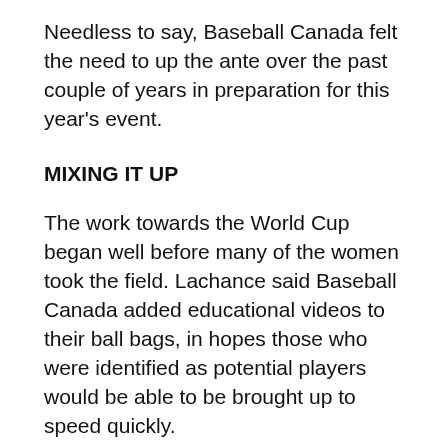Needless to say, Baseball Canada felt the need to up the ante over the past couple of years in preparation for this year's event.
MIXING IT UP
The work towards the World Cup began well before many of the women took the field. Lachance said Baseball Canada added educational videos to their ball bags, in hopes those who were identified as potential players would be able to be brought up to speed quickly.
“It was a time-saving strategy we came up with during the winter and it’s paying off already,” he said. “Now we can work on many